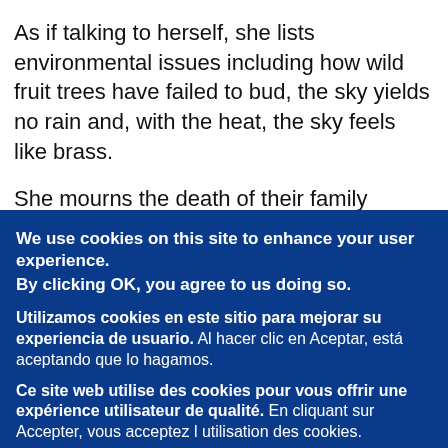As if talking to herself, she lists environmental issues including how wild fruit trees have failed to bud, the sky yields no rain and, with the heat, the sky feels like brass.
She mourns the death of their family livestock.
She breaks from her thoughts by assuring her children that
We use cookies on this site to enhance your user experience. By clicking OK, you agree to us doing so.

Utilizamos cookies en este sitio para mejorar su experiencia de usuario. Al hacer clic en Aceptar, está aceptando que lo hagamos.

Ce site web utilise des cookies pour vous offrir une expérience utilisateur de qualité. En cliquant sur Accepter, vous acceptez l utilisation des cookies.

Click here for more info. Haga clic aui para mayor información. Cliquez ici pour en savoir plus.

OK, I agree. De acuerdo. Accepter.

No, thanks. No, gracias. Non merci.